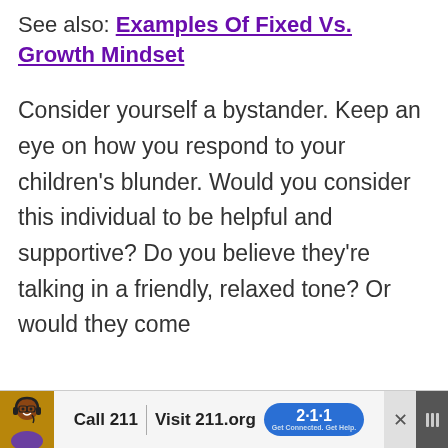See also: Examples Of Fixed Vs. Growth Mindset
Consider yourself a bystander. Keep an eye on how you respond to your children’s blunder. Would you consider this individual to be helpful and supportive? Do you believe they’re talking in a friendly, relaxed tone? Or would they come
[Figure (other): Advertisement banner at the bottom showing a person wearing a headset, with text 'Call 211 | Visit 211.org' and a 2-1-1 logo badge, with close buttons on each side.]